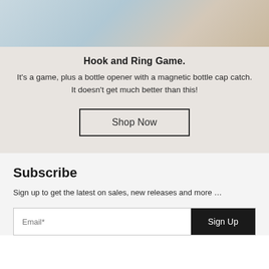[Figure (photo): Partial product photo showing Hook and Ring Game against a light blue and beige background]
Hook and Ring Game.
It's a game, plus a bottle opener with a magnetic bottle cap catch. It doesn't get much better than this!
Shop Now
Subscribe
Sign up to get the latest on sales, new releases and more …
Email*
Sign Up